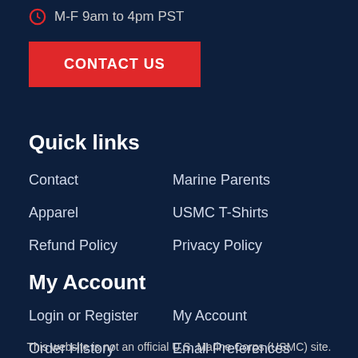M-F 9am to 4pm PST
CONTACT US
Quick links
Contact
Marine Parents
Apparel
USMC T-Shirts
Refund Policy
Privacy Policy
My Account
Login or Register
My Account
Order History
Email Preferences
This website is not an official U.S. Marine Corps (USMC) site.